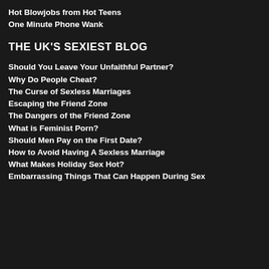Hot Blowjobs from Hot Teens
One Minute Phone Wank
THE UK'S SEXIEST BLOG
Should You Leave Your Unfaithful Partner?
Why Do People Cheat?
The Curse of Sexless Marriages
Escaping the Friend Zone
The Dangers of the Friend Zone
What is Feminist Porn?
Should Men Pay on the First Date?
How to Avoid Having A Sexless Marriage
What Makes Holiday Sex Hot?
Embarrassing Things That Can Happen During Sex